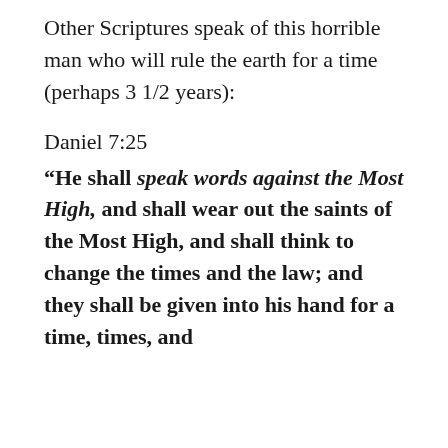Other Scriptures speak of this horrible man who will rule the earth for a time (perhaps 3 1/2 years):
Daniel 7:25
“He shall speak words against the Most High, and shall wear out the saints of the Most High, and shall think to change the times and the law; and they shall be given into his hand for a time, times, and